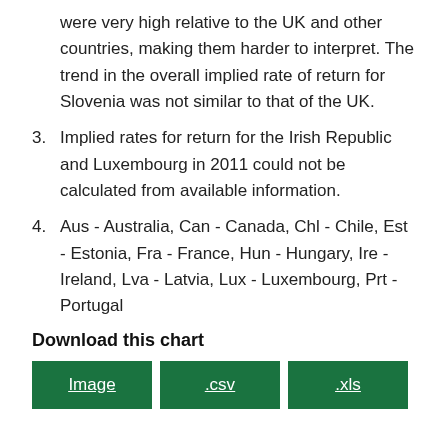were very high relative to the UK and other countries, making them harder to interpret. The trend in the overall implied rate of return for Slovenia was not similar to that of the UK.
3. Implied rates for return for the Irish Republic and Luxembourg in 2011 could not be calculated from available information.
4. Aus - Australia, Can - Canada, Chl - Chile, Est - Estonia, Fra - France, Hun - Hungary, Ire - Ireland, Lva - Latvia, Lux - Luxembourg, Prt - Portugal
Download this chart
Image  .csv  .xls